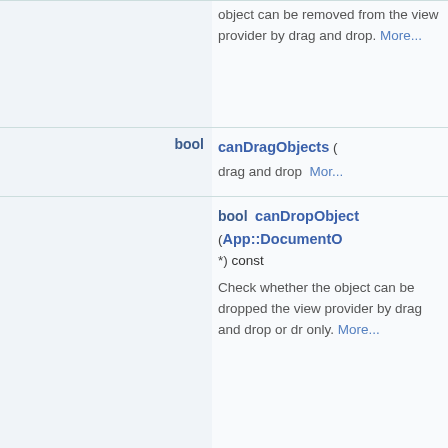|  |  |
| --- | --- |
|  | object can be removed from the view provider by drag and drop. More... |
| bool | canDragObjects () drag and drop More... |
| bool | canDropObject (App::DocumentC *) const Check whether the object can be dropped the view provider by drag and drop or drop only. More... |
| bool | canDropObjects () Check whether objects can be added to the view provider by drag and drop or drop only. More... |